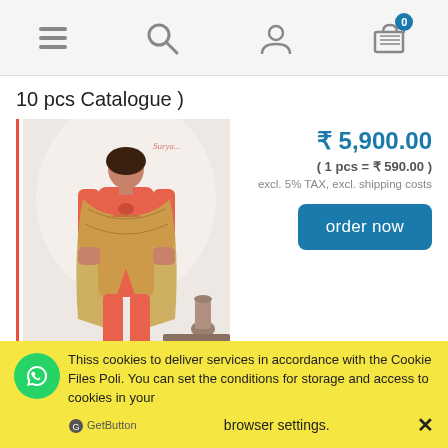[Figure (screenshot): Mobile e-commerce website navigation bar with hamburger menu, search icon, user icon, and shopping cart icon with badge showing 0]
10 pcs Catalogue )
[Figure (photo): Product photo of a woman wearing a pink/salmon salwar kameez dress material with golden dupatta]
₹ 5,900.00
( 1 pcs = ₹ 590.00 )
excl. 5% TAX, excl. shipping costs
order now
Suryajyoti Noreen Vol-5 Satin Cotton Dress Material
( 8 pcs Catalogue )
This uses cookies to deliver services in accordance with the Cookie Files Policy. You can set the conditions for storage and access to cookies in your browser settings. ✕